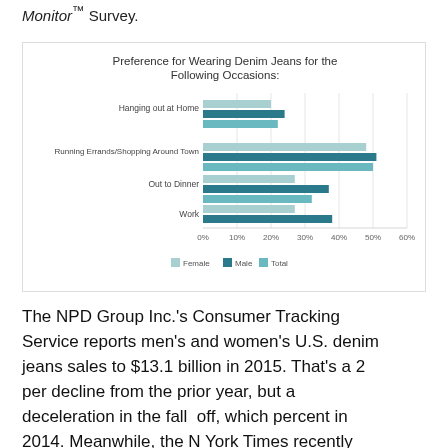Monitor™ Survey.
[Figure (grouped-bar-chart): Preference for Wearing Denim Jeans for the Following Occasions:]
The NPD Group Inc.'s Consumer Tracking Service reports men's and women's U.S. denim jeans sales totaled $13.1 billion in 2015. That's a 2 percent decline from the prior year, but a deceleration in the fall off, which was 5 percent in 2014. Meanwhile, the New York Times recently reported the